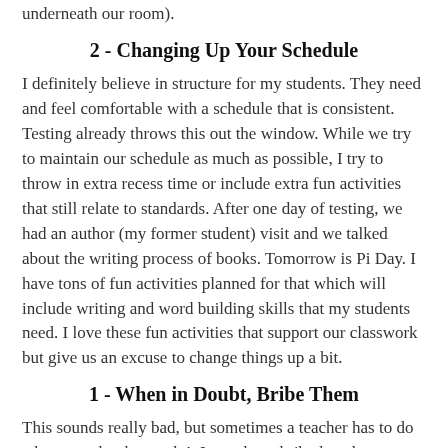underneath our room).
2 - Changing Up Your Schedule
I definitely believe in structure for my students. They need and feel comfortable with a schedule that is consistent. Testing already throws this out the window. While we try to maintain our schedule as much as possible, I try to throw in extra recess time or include extra fun activities that still relate to standards. After one day of testing, we had an author (my former student) visit and we talked about the writing process of books. Tomorrow is Pi Day. I have tons of fun activities planned for that which will include writing and word building skills that my students need. I love these fun activities that support our classwork but give us an excuse to change things up a bit.
1 - When in Doubt, Bribe Them
This sounds really bad, but sometimes a teacher has to do what a teacher has to do!  I may have bribed students to work hard in order to get treats like goldfish (jokes on